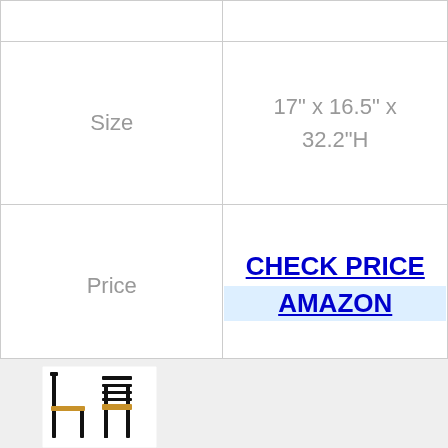|  |  |
| --- | --- |
| Size | 17" x 16.5" x 32.2"H |
| Price | CHECK PRICE AMAZON |
[Figure (photo): Two black metal dining chairs with wooden seats, shown from side and front angles.]